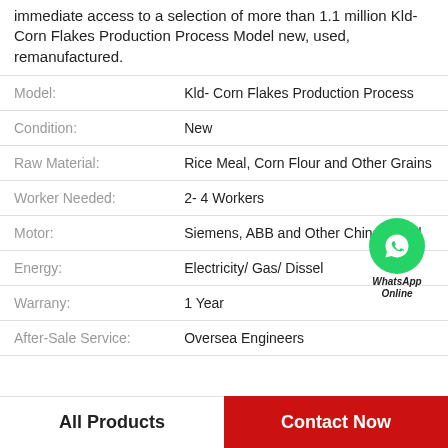immediate access to a selection of more than 1.1 million Kld- Corn Flakes Production Process Model new, used, remanufactured.
| Attribute | Value |
| --- | --- |
| Model: | Kld- Corn Flakes Production Process |
| Condition: | New |
| Raw Material: | Rice Meal, Corn Flour and Other Grains |
| Worker Needed: | 2- 4 Workers |
| Motor: | Siemens, ABB and Other China Brand |
| Energy: | Electricity/ Gas/ Dissel |
| Warrany: | 1 Year |
| After-Sale Service: | Oversea Engineers |
[Figure (illustration): WhatsApp Online button with green phone icon]
All Products   Contact Now